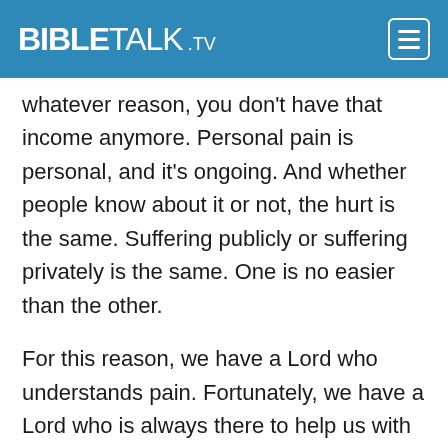BibleTalk.TV
whatever reason, you don't have that income anymore. Personal pain is personal, and it's ongoing. And whether people know about it or not, the hurt is the same. Suffering publicly or suffering privately is the same. One is no easier than the other.
For this reason, we have a Lord who understands pain. Fortunately, we have a Lord who is always there to help us with our hurts. Jesus Christ is the Lord of the heavens, yes, and he's the Lord of the earth, yes, and thankfully for those who suffer, he's also the Lord of hurting. And the Lord of those who hurt provides